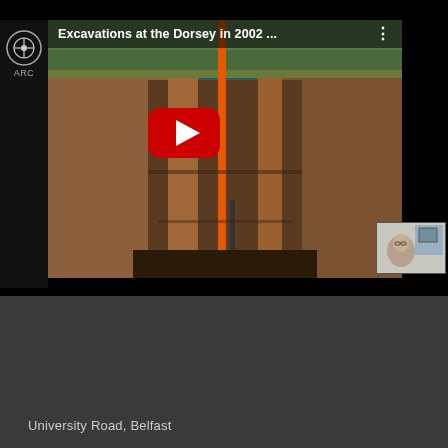[Figure (screenshot): YouTube video thumbnail showing an archaeological excavation trench at the Dorsey site (2002). The video player interface shows a title bar reading 'Excavations at the Dorsey in 2002 ...' with a YouTube channel logo top-left, a three-dot menu top-right, and a large red YouTube play button in the center. A small webcam inset of a person appears in the bottom-right corner. The excavation shows a deep trench with brown earth and an orange measuring pole.]
[Figure (logo): Queen's University Belfast logo: red shield with white X cross and decorative elements, with white text 'QUEEN'S UNIVERSITY BELFAST' to the right.]
University Road, Belfast